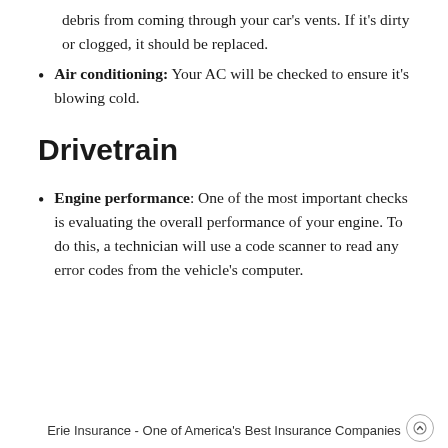debris from coming through your car's vents. If it's dirty or clogged, it should be replaced.
Air conditioning: Your AC will be checked to ensure it's blowing cold.
Drivetrain
Engine performance: One of the most important checks is evaluating the overall performance of your engine. To do this, a technician will use a code scanner to read any error codes from the vehicle's computer.
Erie Insurance - One of America's Best Insurance Companies